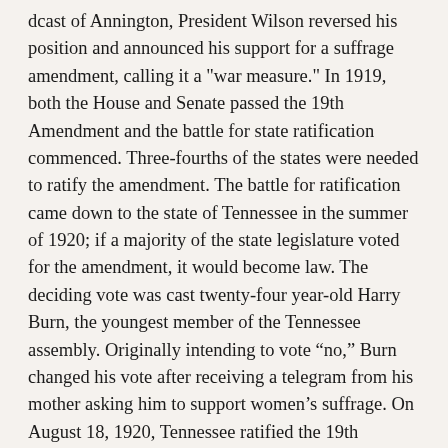dcast of Annington, President Wilson reversed his position and announced his support for a suffrage amendment, calling it a "war measure." In 1919, both the House and Senate passed the 19th Amendment and the battle for state ratification commenced. Three-fourths of the states were needed to ratify the amendment. The battle for ratification came down to the state of Tennessee in the summer of 1920; if a majority of the state legislature voted for the amendment, it would become law. The deciding vote was cast twenty-four year-old Harry Burn, the youngest member of the Tennessee assembly. Originally intending to vote “no,” Burn changed his vote after receiving a telegram from his mother asking him to support women’s suffrage. On August 18, 1920, Tennessee ratified the 19th Amendment. Six days later, Secretary of State Colby certified the ratification, and, with the stroke of his pen, American women gained the right to vote after a seventy-two year battle. August 26th is now celebrated as Women's Equality Day in the United States."